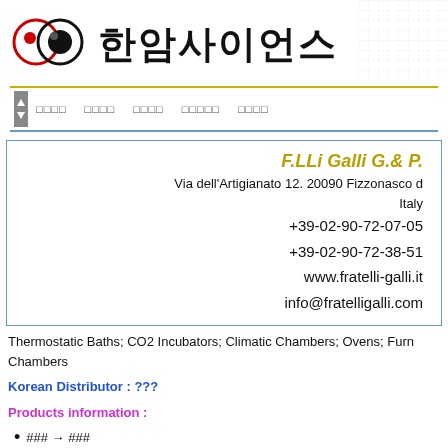[Figure (logo): Two overlapping circles logo: left circle has red dot and red ring, right circle is black with black dot. Korean text '한암사이언스' in bold to the right.]
□□□□  □□□□  □□□□  □□□□□  □□□□
F.LLi Galli G.& P.
Via dell'Artigianato 12. 20090 Fizzonasco d Italy
+39-02-90-72-07-05
+39-02-90-72-38-51
www.fratelli-galli.it
info@fratelligalli.com
Thermostatic Baths; CO2 Incubators; Climatic Chambers; Ovens; Furnaces; Chambers
Korean Distributor : ???
Products information :
### → ###